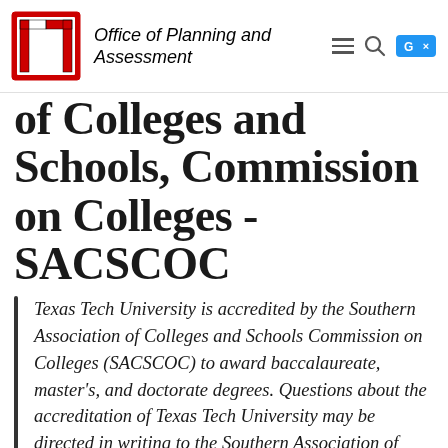Office of Planning and Assessment
of Colleges and Schools, Commission on Colleges - SACSCOC
Texas Tech University is accredited by the Southern Association of Colleges and Schools Commission on Colleges (SACSCOC) to award baccalaureate, master's, and doctorate degrees. Questions about the accreditation of Texas Tech University may be directed in writing to the Southern Association of Colleges and Schools Commission on Colleges at 1866 Southern La...